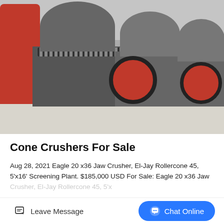[Figure (photo): Industrial cone crushers lined up in a warehouse/factory setting. Multiple large grey cone crusher machines with red flywheels and black coil springs visible. One red cone crusher machine on the far left. Concrete floor, metal roof structure visible overhead.]
Cone Crushers For Sale
Aug 28, 2021 Eagle 20 x36 Jaw Crusher, El-Jay Rollercone 45, 5'x16' Screening Plant. $185,000 USD For Sale: Eagle 20 x36 Jaw Crusher, El-Jay Rollercone 45, 5'x...